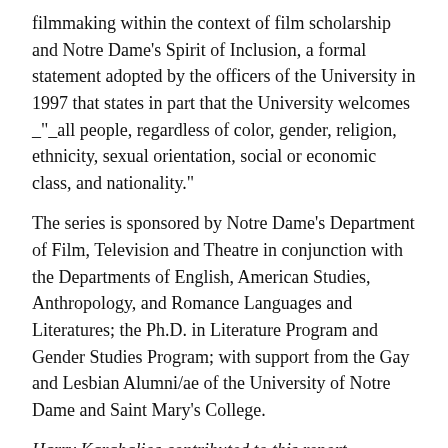filmmaking within the context of film scholarship and Notre Dame's Spirit of Inclusion, a formal statement adopted by the officers of the University in 1997 that states in part that the University welcomes _"_all people, regardless of color, gender, religion, ethnicity, sexual orientation, social or economic class, and nationality."
The series is sponsored by Notre Dame's Department of Film, Television and Theatre in conjunction with the Departments of English, American Studies, Anthropology, and Romance Languages and Literatures; the Ph.D. in Literature Program and Gender Studies Program; with support from the Gay and Lesbian Alumni/ae of the University of Notre Dame and Saint Mary's College.
Harry Karahalios contributed to this report.
Contact: Student organizers Harry Karahalios, 773-490-3829 or Martin Laina, 574-315-1990
Originally published by Julie Flory at newsinfo.nd.edu on